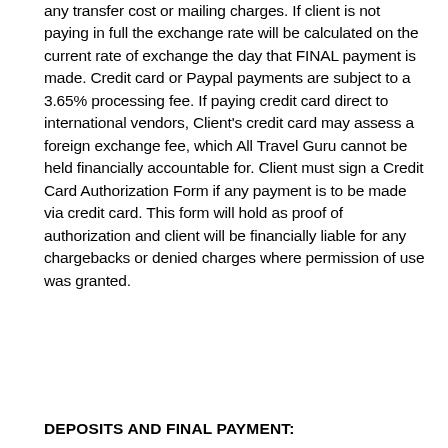any transfer cost or mailing charges. If client is not paying in full the exchange rate will be calculated on the current rate of exchange the day that FINAL payment is made. Credit card or Paypal payments are subject to a 3.65% processing fee. If paying credit card direct to international vendors, Client's credit card may assess a foreign exchange fee, which All Travel Guru cannot be held financially accountable for. Client must sign a Credit Card Authorization Form if any payment is to be made via credit card. This form will hold as proof of authorization and client will be financially liable for any chargebacks or denied charges where permission of use was granted.
DEPOSITS AND FINAL PAYMENT: